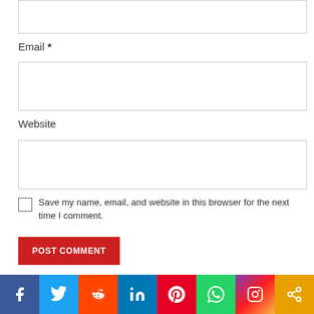Email *
Website
Save my name, email, and website in this browser for the next time I comment.
POST COMMENT
RELATED POSTS
[Figure (screenshot): Social share bar with Facebook, Twitter, Reddit, LinkedIn, Pinterest, WhatsApp, Instagram, and share icons]